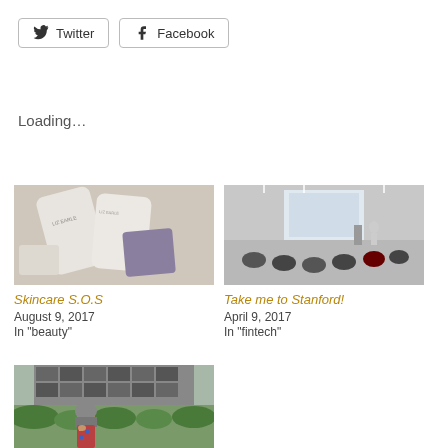Twitter
Facebook
Loading...
[Figure (photo): Liz Earle skincare product bottles and packaging on a light surface]
Skincare S.O.S
August 9, 2017
In "beauty"
[Figure (photo): Conference room with audience watching a presentation on a screen, speaker standing to the side]
Take me to Stanford!
April 9, 2017
In "fintech"
[Figure (photo): Woman in hijab and colorful outfit standing in front of a modern building with greenery]